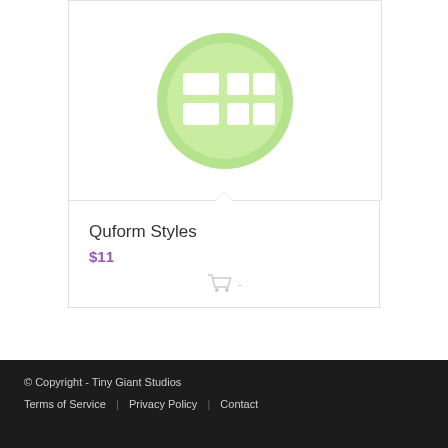[Figure (logo): Green circular logo with a grid/table icon made of white rectangles on a light green background]
Quform Styles
$11
[Figure (illustration): Shopping cart icon with a dash, light gray color]
© Copyright - Tiny Giant Studios | Terms of Service | Privacy Policy | Contact